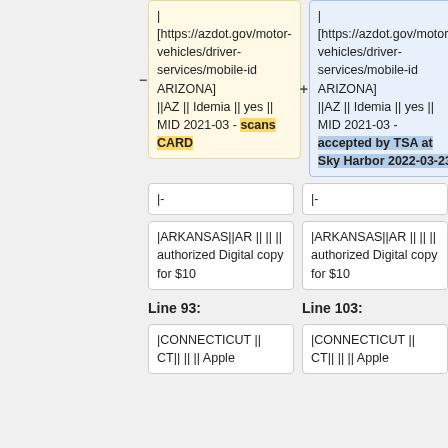| [https://azdot.gov/motor-vehicles/driver-services/mobile-id ARIZONA] ||AZ || Idemia || yes || MID 2021-03 - scans CARD
| [https://azdot.gov/motor-vehicles/driver-services/mobile-id ARIZONA] ||AZ || Idemia || yes || MID 2021-03 - accepted by TSA at Sky Harbor 2022-03-23
|-
|-
|ARKANSAS||AR || || || authorized Digital copy for $10
|ARKANSAS||AR || || || authorized Digital copy for $10
Line 93:
Line 103:
|CONNECTICUT || CT|| || || Apple
|CONNECTICUT || CT|| || || Apple